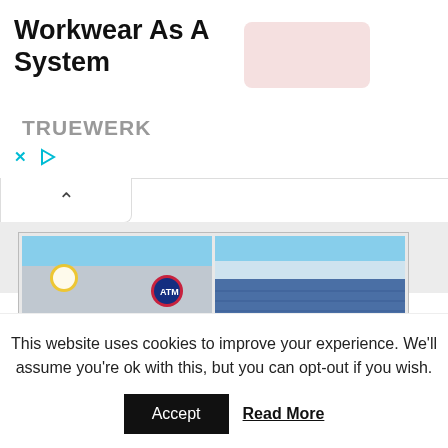[Figure (screenshot): Advertisement banner for Truewerk workwear showing text 'Workwear As A System' with brand name TRUEWERK, a pinkish product image placeholder, close and play icons]
[Figure (photo): Two football stadium photos side by side - left showing Atletico Madrid's stadium with red seats and Atletico logo, right showing Real Madrid's Santiago Bernabeu stadium with blue seats]
This website uses cookies to improve your experience. We'll assume you're ok with this, but you can opt-out if you wish.
Accept   Read More